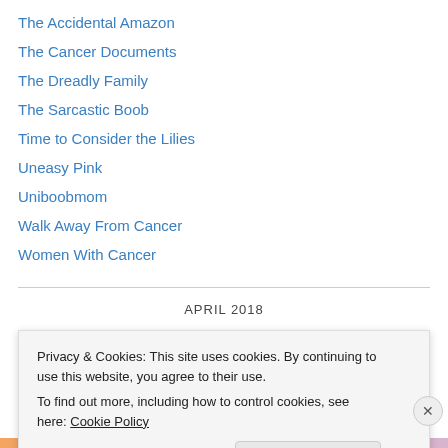The Accidental Amazon
The Cancer Documents
The Dreadly Family
The Sarcastic Boob
Time to Consider the Lilies
Uneasy Pink
Uniboobmom
Walk Away From Cancer
Women With Cancer
APRIL 2018
Privacy & Cookies: This site uses cookies. By continuing to use this website, you agree to their use.
To find out more, including how to control cookies, see here: Cookie Policy